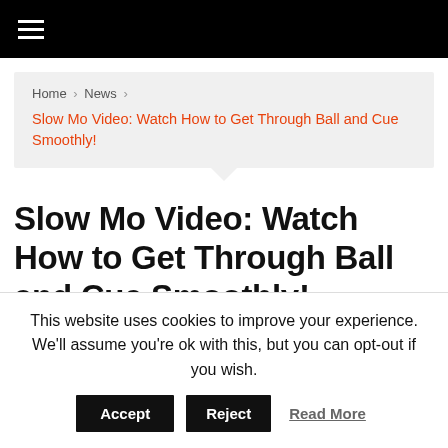≡ (navigation bar)
Home > News > Slow Mo Video: Watch How to Get Through Ball and Cue Smoothly!
Slow Mo Video: Watch How to Get Through Ball and Cue Smoothly!
Chris Gavnor   January 4, 2019   News
This website uses cookies to improve your experience. We'll assume you're ok with this, but you can opt-out if you wish. Accept Reject Read More